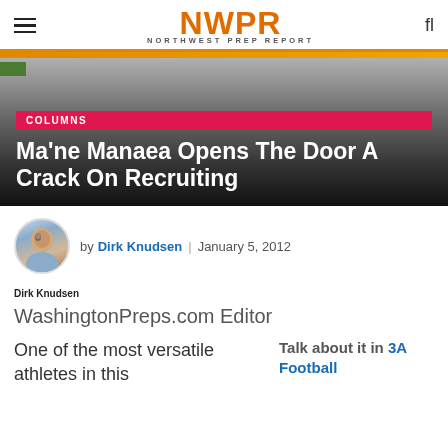NWPR NORTHWEST PREP REPORT
[Figure (photo): Hero banner with dark gradient overlay, green tag in top left corner]
COLUMNS
Ma'ne Manaea Opens The Door A Crack On Recruiting
by Dirk Knudsen | January 5, 2012
Dirk Knudsen
WashingtonPreps.com Editor
One of the most versatile athletes in this
Talk about it in 3A Football